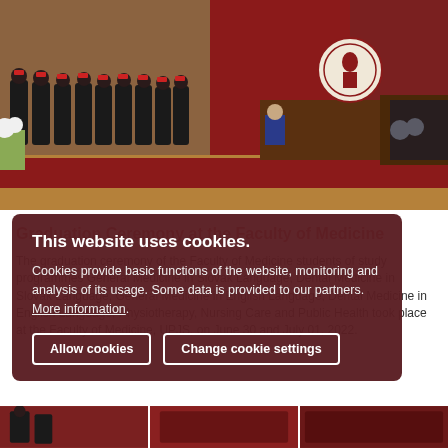[Figure (photo): Graduation ceremony at a university auditorium. Graduates in black robes and red caps stand in a line on a red-carpeted stage. A faculty member sits at a podium. A seal/emblem is visible on the back wall.]
Graduation Ceremony at the Faculty of Medicine
The graduation ceremony of the Faculty of Medicine students of study programmes General Medicine in Slovak Language, Dental Medicine in Slovak Language, General Medicine in English Language, Dental Medicine in English Language, Physiotherapy, Nursing Care and Public Health took place at the Faculty of Medicine, UPJS, on June 30 and July 01, 2022.
This website uses cookies.
Cookies provide basic functions of the website, monitoring and analysis of its usage. Some data is provided to our partners. More information.
Allow cookies | Change cookie settings
[Figure (photo): Thumbnail photo strip at the bottom of the page showing graduation ceremony images.]